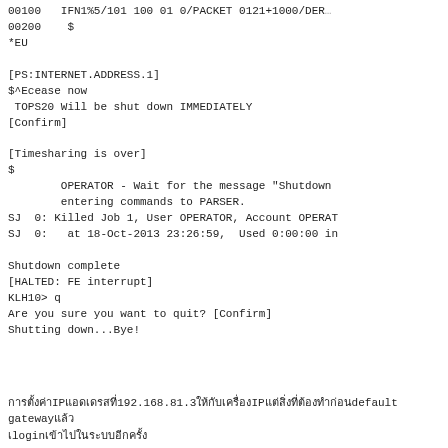00100  IFN1%5/101 100 01 0/PACKET 0121+1000/DER...
00200    $
*EU

[PS:INTERNET.ADDRESS.1]
$^Ecease now
 TOPS20 Will be shut down IMMEDIATELY
[Confirm]

[Timesharing is over]
$
        OPERATOR - Wait for the message "Shutdown
        entering commands to PARSER.
SJ  0: Killed Job 1, User OPERATOR, Account OPERAT
SJ  0:   at 18-Oct-2013 23:26:59,  Used 0:00:00 in

Shutdown complete
[HALTED: FE interrupt]
KLH10> q
Are you sure you want to quit? [Confirm]
Shutting down...Bye!
ขั้นตอนต่อไปIP แอดเดรส192.168.81.3ให้กับเครื่องIPแต่สิ่งที่ต้องทำก่อนdefault gatewayแล้วloginเข้าไปในระบบอีกครั้ง